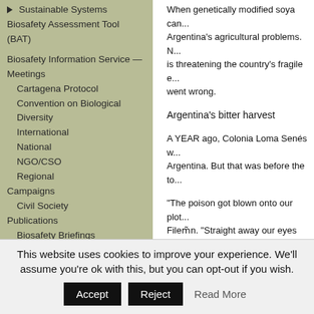▶ Sustainable Systems
Biosafety Assessment Tool (BAT)
Biosafety Information Service — Meetings
Cartagena Protocol
Convention on Biological Diversity
International
National
NGO/CSO
Regional
Campaigns
Civil Society
Publications
Biosafety Briefings
Biotechnology & Biosafety Series
Books
Downloads
When genetically modified soya can... Argentina's agricultural problems. N... is threatening the country's fragile e... went wrong.
Argentina's bitter harvest
A YEAR ago, Colonia Loma Senés w... Argentina. But that was before the to...
"The poison got blown onto our plot... Filem̃n. "Straight away our eyes sta... rashes." The following morning the t...
"Almost all of our crops were badly...
This website uses cookies to improve your experience. We'll assume you're ok with this, but you can opt-out if you wish.